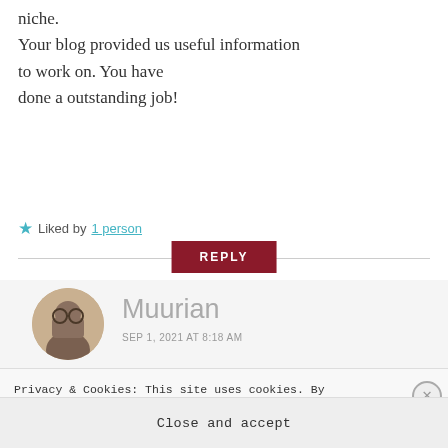niche. Your blog provided us useful information to work on. You have done a outstanding job!
★ Liked by 1 person
REPLY
Muurian
SEP 1, 2021 AT 8:18 AM
Privacy & Cookies: This site uses cookies. By continuing to use this website, you agree to their use.
To find out more, including how to control cookies, see here: Cookie Policy
Close and accept